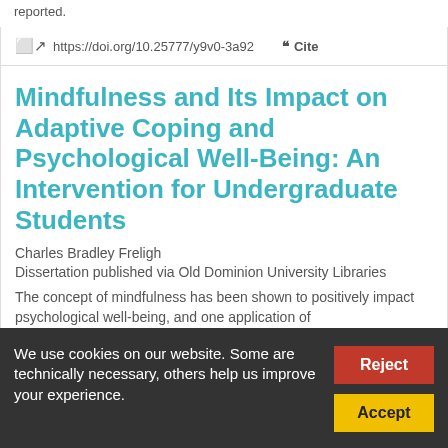reported.
https://doi.org/10.25777/y9v0-3a92   Cite
Mindfulness and Its Impact on Adaptive Coping and Psychological Well-Being: An Intervention for Undergraduate Students
Charles Bradley Freligh
Dissertation published via Old Dominion University Libraries
The concept of mindfulness has been shown to positively impact psychological well-being, and one application of
We use cookies on our website. Some are technically necessary, others help us improve your experience.
Reject
Accept